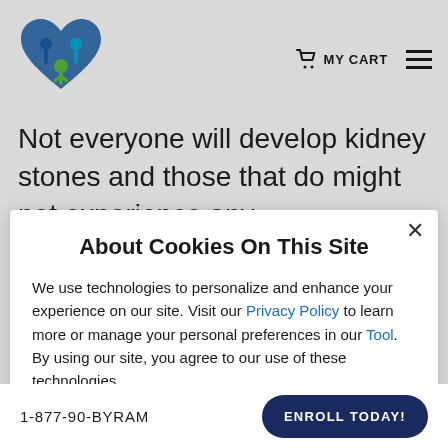MY CART
Not everyone will develop kidney stones and those that do might not experience any
About Cookies On This Site
We use technologies to personalize and enhance your experience on our site. Visit our Privacy Policy to learn more or manage your personal preferences in our Tool. By using our site, you agree to our use of these technologies.
I UNDERSTAND
passing kidney stones.
What are Kidney Stones?
1-877-90-BYRAM  ENROLL TODAY!